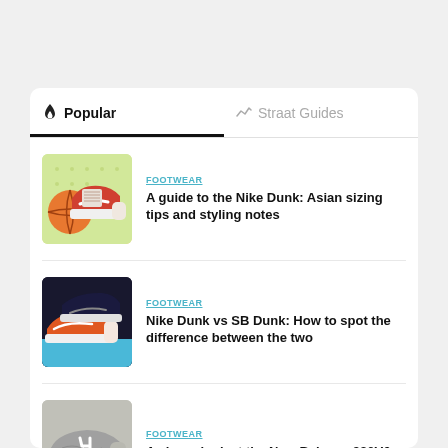Popular
Straat Guides
FOOTWEAR
A guide to the Nike Dunk: Asian sizing tips and styling notes
[Figure (photo): Illustrated Nike Dunk high sneaker with basketball]
FOOTWEAR
Nike Dunk vs SB Dunk: How to spot the difference between the two
[Figure (photo): Nike Dunk and SB Dunk sneakers on dark background with teal accent]
FOOTWEAR
A closer look at the New Balance 990V6
[Figure (photo): Grey New Balance 990V6 sneaker being held by hand]